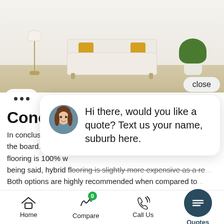[Figure (photo): Living room interior with white sofa, yellow/gold throw pillows, a wooden tripod floor lamp, and a large leafy plant in a white pot on a light wood floor against a white wall.]
Conclusion
In conclusion, both flooring options are competitive across the board. However, hybrid flooring is 100% w... being said, hybrid flooring is slightly more expensive as a re... Both options are highly recommended when compared to hardwood floors as they have ease of installation on thei
[Figure (screenshot): Chat popup overlay with close button, avatar of a woman, and message: 'Hi there, would you like a quote? Text us your name, suburb here.']
Home | Compare | Call Us | Quotes